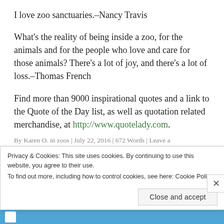I love zoo sanctuaries.–Nancy Travis
What's the reality of being inside a zoo, for the animals and for the people who love and care for those animals? There's a lot of joy, and there's a lot of loss.–Thomas French
Find more than 9000 inspirational quotes and a link to the Quote of the Day list, as well as quotation related merchandise, at http://www.quotelady.com.
By Karen O. in zoos | July 22, 2016 | 672 Words | Leave a
Privacy & Cookies: This site uses cookies. By continuing to use this website, you agree to their use.
To find out more, including how to control cookies, see here: Cookie Policy
Close and accept